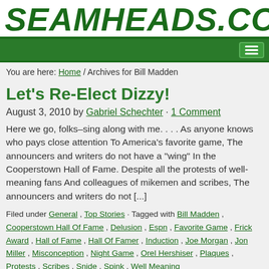SEAMHEADS.COM
You are here: Home / Archives for Bill Madden
Let's Re-Elect Dizzy!
August 3, 2010 by Gabriel Schechter · 1 Comment
Here we go, folks–sing along with me. . . . As anyone knows who pays close attention To America's favorite game, The announcers and writers do not have a "wing" In the Cooperstown Hall of Fame. Despite all the protests of well-meaning fans And colleagues of mikemen and scribes, The announcers and writers do not [...]
Filed under General , Top Stories · Tagged with Bill Madden , Cooperstown Hall Of Fame , Delusion , Espn , Favorite Game , Frick Award , Hall of Fame , Hall Of Famer , Induction , Joe Morgan , Jon Miller , Misconception , Night Game , Orel Hershiser , Plaques , Protests , Scribes , Snide , Spink , Well Meaning